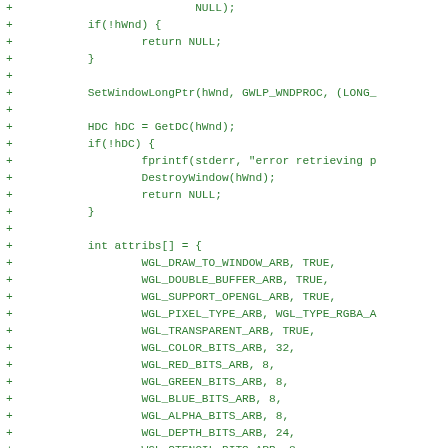Code diff showing addition of Windows OpenGL context setup code including window handle check, device context retrieval, and pixel format attributes array initialization with WGL constants.